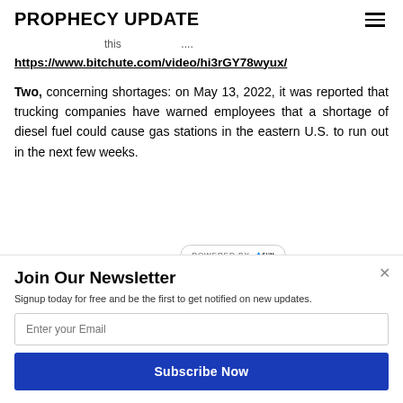PROPHECY UPDATE
...
https://www.bitchute.com/video/hi3rGY78wyux/
Two, concerning shortages: on May 13, 2022, it was reported that trucking companies have warned employees that a shortage of diesel fuel could cause gas stations in the eastern U.S. to run out in the next few weeks.
[Figure (logo): POWERED BY SUMO badge with crown icon]
Join Our Newsletter
Signup today for free and be the first to get notified on new updates.
Enter your Email
Subscribe Now